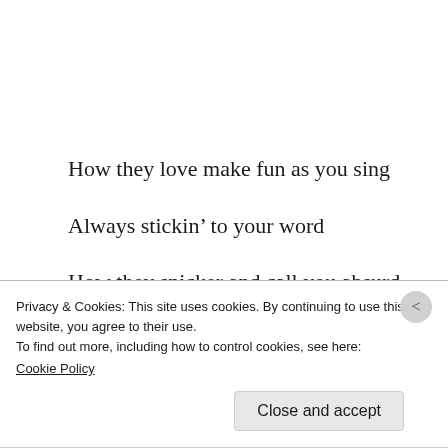How they love make fun as you sing
Always stickin’ to your word
How they snicker and call you absurd
Always standin’ up to heed the call
As they sit back and wait for you to fall
Privacy & Cookies: This site uses cookies. By continuing to use this website, you agree to their use.
To find out more, including how to control cookies, see here:
Cookie Policy
Close and accept